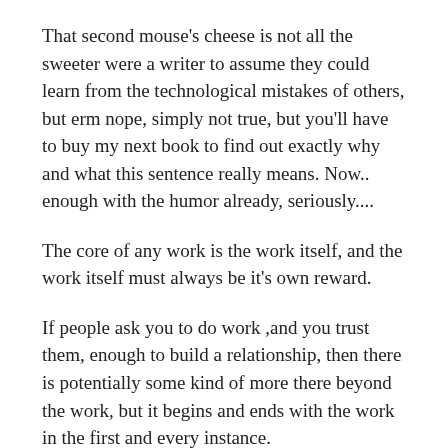That second mouse's cheese is not all the sweeter were a writer to assume they could learn from the technological mistakes of others, but erm nope, simply not true, but you'll have to buy my next book to find out exactly why and what this sentence really means. Now.. enough with the humor already, seriously....
The core of any work is the work itself, and the work itself must always be it's own reward.
If people ask you to do work ,and you trust them, enough to build a relationship, then there is potentially some kind of more there beyond the work, but it begins and ends with the work in the first and every instance.
For serious fully committed writers, before agents, producers, publishers, deals, or any kind of show or business the work comes first. For this writer the first